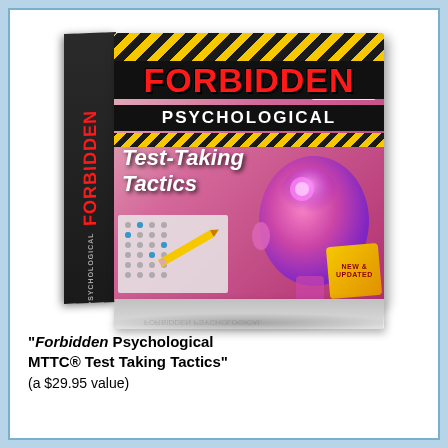[Figure (illustration): 3D product box image of 'Forbidden Psychological Test-Taking Tactics' by Teaching Solutions. Box shows bold red 'FORBIDDEN' text on black background, 'PSYCHOLOGICAL' in white on black, 'Test-Taking Tactics' in italic white text, yellow-black hazard stripes, a glowing purple brain/head illustration, a pencil and answer sheet, and a 'New & Updated' badge in yellow. The box side shows 'FORBIDDEN PSYCHOLOGICAL' text rotated vertically.]
"Forbidden Psychological MTTC® Test Taking Tactics" (a $29.95 value)